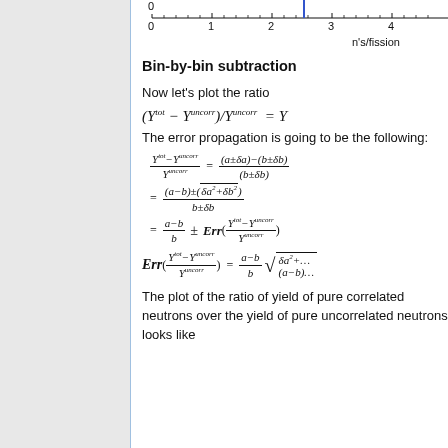[Figure (continuous-plot): Partial axis strip showing x-axis scale from 0 to 4+ with label n's/fission, with a blue vertical marker near x=2.7]
Bin-by-bin subtraction
Now let's plot the ratio
The error propagation is going to be the following:
The plot of the ratio of yield of pure correlated neutrons over the yield of pure uncorrelated neutrons looks like